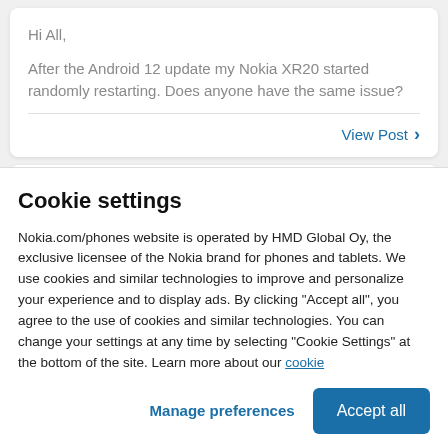Hi All,

After the Android 12 update my Nokia XR20 started randomly restarting. Does anyone have the same issue?
View Post
XR20 Randomly Reboots After Android 12 Update
Cookie settings
Nokia.com/phones website is operated by HMD Global Oy, the exclusive licensee of the Nokia brand for phones and tablets. We use cookies and similar technologies to improve and personalize your experience and to display ads. By clicking "Accept all", you agree to the use of cookies and similar technologies. You can change your settings at any time by selecting "Cookie Settings" at the bottom of the site. Learn more about our cookie
Manage preferences
Accept all